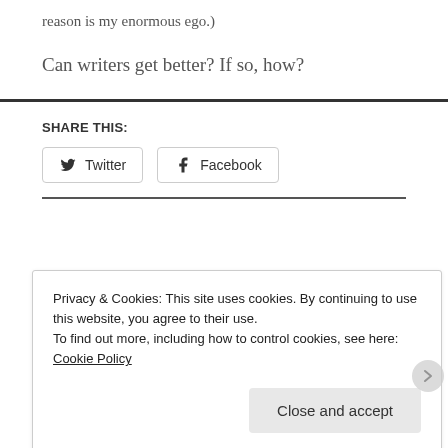reason is my enormous ego.)
Can writers get better?  If so, how?
SHARE THIS:
Twitter
Facebook
Privacy & Cookies: This site uses cookies. By continuing to use this website, you agree to their use.
To find out more, including how to control cookies, see here: Cookie Policy
Close and accept